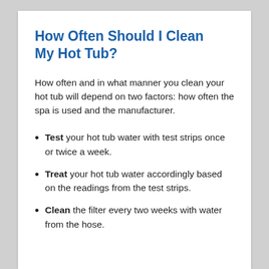How Often Should I Clean My Hot Tub?
How often and in what manner you clean your hot tub will depend on two factors: how often the spa is used and the manufacturer.
Test your hot tub water with test strips once or twice a week.
Treat your hot tub water accordingly based on the readings from the test strips.
Clean the filter every two weeks with water from the hose.